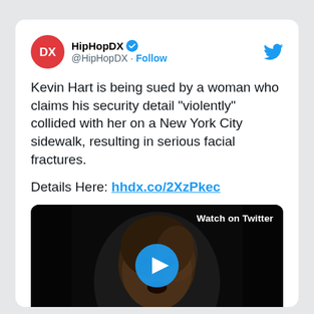[Figure (screenshot): Twitter/X tweet card from HipHopDX account with verified badge, text about Kevin Hart lawsuit, a link, and a video thumbnail of a man's face with a play button overlay and 'Watch on Twitter' label]